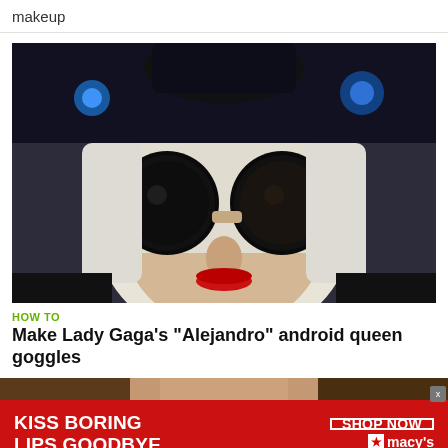makeup
[Figure (photo): Person wearing large round dark goggles and a white wig with blue-lit headpiece resembling Lady Gaga's android queen look from the Alejandro video]
HOW TO
Make Lady Gaga's "Alejandro" android queen goggles
[Figure (photo): Close-up portrait of a woman with red lips and brown hair, partially cropped]
KISS BORING LIPS GOODBYE
SHOP NOW ★ macy's